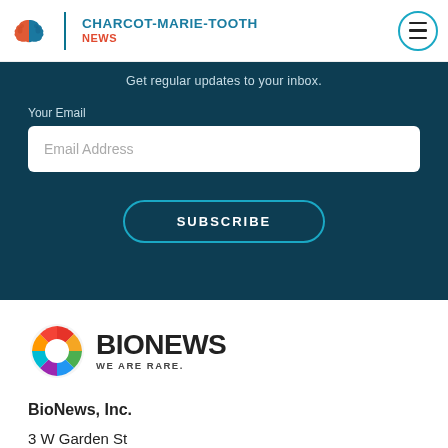CHARCOT-MARIE-TOOTH NEWS
Get regular updates to your inbox.
Your Email
Email Address
SUBSCRIBE
[Figure (logo): BioNews logo with colorful gear icon and text BIONEWS WE ARE RARE.]
BioNews, Inc.
3 W Garden St
Suite 700
Pensacola, FL 32502